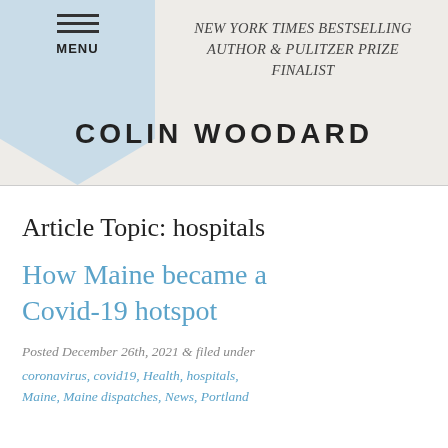MENU
NEW YORK TIMES BESTSELLING AUTHOR & PULITZER PRIZE FINALIST
COLIN WOODARD
Article Topic: hospitals
How Maine became a Covid-19 hotspot
Posted December 26th, 2021 & filed under
coronavirus, covid19, Health, hospitals, Maine, Maine dispatches, News, Portland